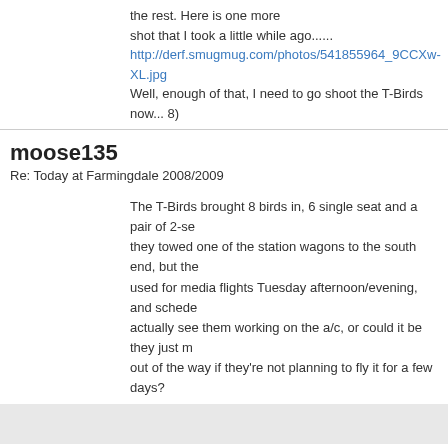the rest. Here is one more shot that I took a little while ago...... http://derf.smugmug.com/photos/541855964_9CCXw-XL.jpg Well, enough of that, I need to go shoot the T-Birds now... 8)
moose135
Re: Today at Farmingdale 2008/2009
The T-Birds brought 8 birds in, 6 single seat and a pair of 2-se... they towed one of the station wagons to the south end, but th... used for media flights Tuesday afternoon/evening, and sched... actually see them working on the a/c, or could it be they just m... out of the way if they're not planning to fly it for a few days?
Page 42 of 220  First  ...  32  38  39  40  41  42  43  4  Last
All times are GMT -5. The time now is 07:1
Powered by vBulletin® Version 4.2.3 Copyright © 2022 vBulletin Solutions, Inc. All righ
Site © Copyright 2017, NYCAviation LLC. Comments and pho